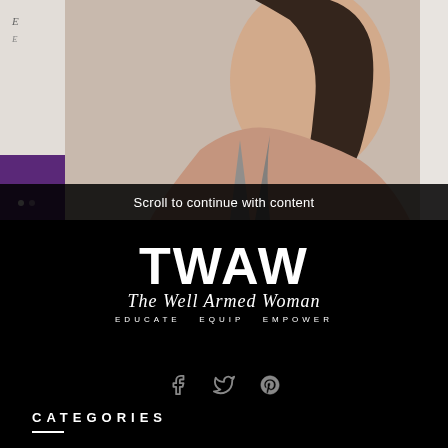[Figure (photo): Woman with long dark hair wearing a gray tank top, photographed against a light background. Left sidebar shows partial text and purple color block.]
Scroll to continue with content
[Figure (logo): TWAW (The Well Armed Woman) logo in white on black background. Large bold letters TWAW, script text 'The Well Armed Woman', tagline 'EDUCATE EQUIP EMPOWER'. Social media icons for Facebook, Twitter, Pinterest below.]
CATEGORIES